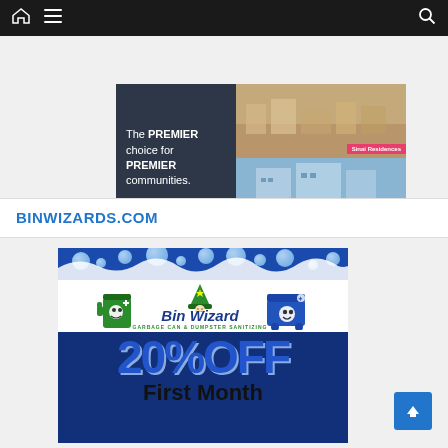[Figure (screenshot): Website navigation bar with home icon, hamburger menu, and search icon on dark background]
[Figure (infographic): Premier Residences advertisement banner with dark background, text 'The PREMIER choice for PREMIER communities.' and two property photos labeled Sinai Residences and Alina Residences]
BINWIZARDS.COM
[Figure (infographic): Bin Wizard Garbage Can & Dumpster Sanitizing advertisement showing cartoon wizard and bins logo, 20% OFF, First Month promotional offer]